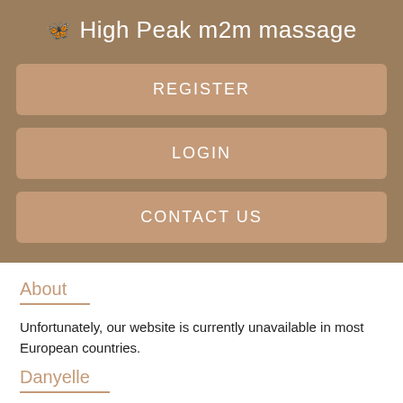🦋 High Peak m2m massage
REGISTER
LOGIN
CONTACT US
About
Unfortunately, our website is currently unavailable in most European countries.
Danyelle
Age: 26